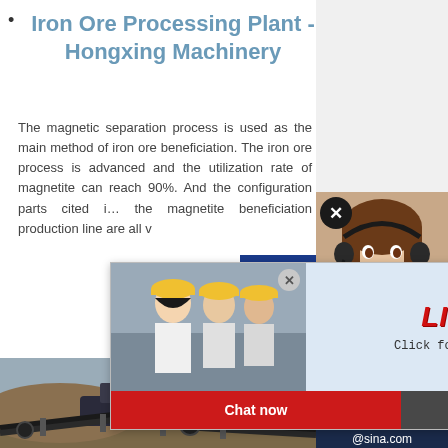Iron Ore Processing Plant - Hongxing Machinery
The magnetic separation process is used as the main method of iron ore beneficiation. The iron ore process is advanced and the utilization rate of magnetite can reach 90%. And the configuration parts cited i... the magnetite beneficiation production line are all v
[Figure (photo): Live chat popup with workers in yellow hard hats and a 'LIVE CHAT - Click for a Free Consultation' panel, plus Chat now and Chat later buttons]
[Figure (photo): Customer support agent (woman with headset) on right side]
[Figure (photo): Iron ore processing machinery at a mine site]
ave any requests, click here.
Quotation
Enquiry
limingjlmofen@sina.com